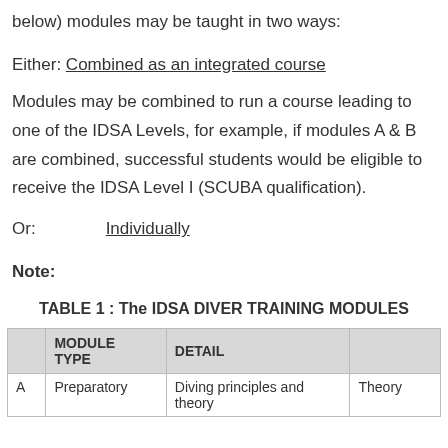below) modules may be taught in two ways:
Either: Combined as an integrated course
Modules may be combined to run a course leading to one of the IDSA Levels, for example, if modules A & B are combined, successful students would be eligible to receive the IDSA Level I (SCUBA qualification).
Or:        Individually
Note:
TABLE 1 : The IDSA DIVER TRAINING MODULES
|  | MODULE TYPE | DETAIL | Theory |
| --- | --- | --- | --- |
| A | Preparatory | Diving principles and theory | Theory |